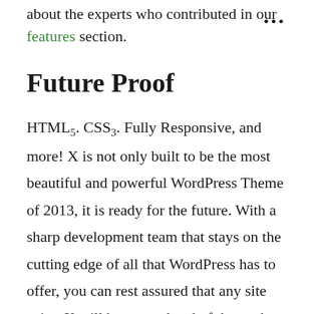about the experts who contributed in our features section.
Future Proof
HTML5. CSS3. Fully Responsive, and more! X is not only built to be the most beautiful and powerful WordPress Theme of 2013, it is ready for the future. With a sharp development team that stays on the cutting edge of all that WordPress has to offer, you can rest assured that any site using X will be steps ahead of the pack employing the high-end functionality